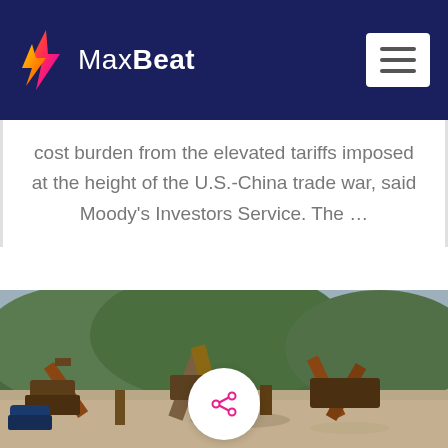MaxBeat
cost burden from the elevated tariffs imposed at the height of the U.S.-China trade war, said Moody's Investors Service. The …
[Figure (photo): Industrial mining or quarrying site with heavy machinery, conveyor belts, and equipment set against a mountainous backdrop with green hills and grey sky.]